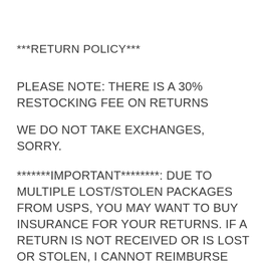***RETURN POLICY***
PLEASE NOTE: THERE IS A 30% RESTOCKING FEE ON RETURNS
WE DO NOT TAKE EXCHANGES, SORRY.
*******IMPORTANT********: DUE TO MULTIPLE LOST/STOLEN PACKAGES FROM USPS, YOU MAY WANT TO BUY INSURANCE FOR YOUR RETURNS. IF A RETURN IS NOT RECEIVED OR IS LOST OR STOLEN, I CANNOT REIMBURSE